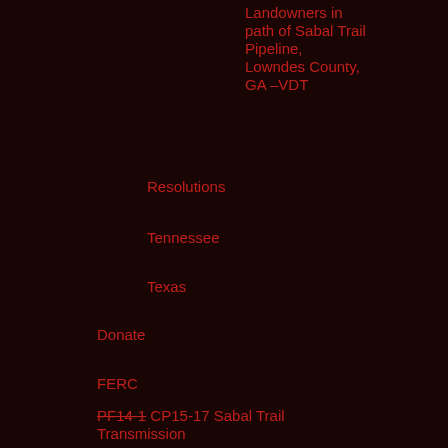Landowners in path of Sabal Trail Pipeline, Lowndes County, GA –VDT
Resolutions
Tennessee
Texas
Donate
FERC
PF14-1 CP15-17 Sabal Trail Transmission
Update 2013-11-15
Draft Resource Report 10: Alternatives
Detail maps, Alternatives,